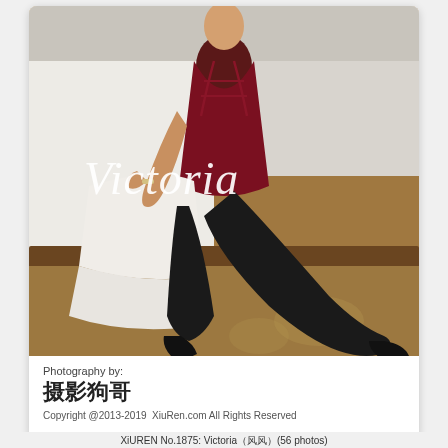[Figure (photo): A woman seated on a hotel bed wearing a dark red lingerie top and black sheer stockings with black high heels. White bedding visible. Hotel room background with carpeted floor.]
Victoria
Photography by:
摄影狗哥
Copyright @2013-2019  XiuRen.com All Rights Reserved
XiUREN No.1875: Victoria（风风）(56 photos)